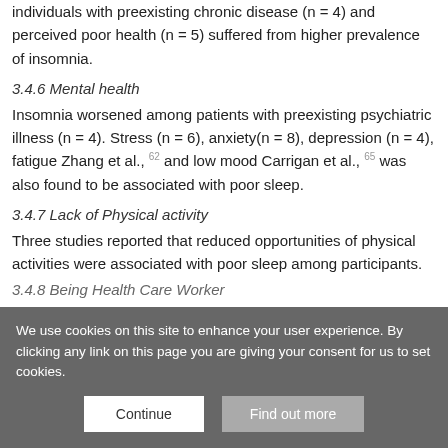individuals with preexisting chronic disease (n = 4) and perceived poor health (n = 5) suffered from higher prevalence of insomnia.
3.4.6 Mental health
Insomnia worsened among patients with preexisting psychiatric illness (n = 4). Stress (n = 6), anxiety(n = 8), depression (n = 4), fatigue Zhang et al., 62 and low mood Carrigan et al., 65 was also found to be associated with poor sleep.
3.4.7 Lack of Physical activity
Three studies reported that reduced opportunities of physical activities were associated with poor sleep among participants.
3.4.8 Being Health Care Worker
We use cookies on this site to enhance your user experience. By clicking any link on this page you are giving your consent for us to set cookies.